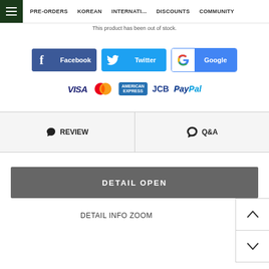PRE-ORDERS   KOREAN   INTERNATI...   DISCOUNTS   COMMUNITY
This product has been out of stock.
[Figure (infographic): Social share buttons: Facebook, Twitter, Google]
[Figure (infographic): Payment method logos: VISA, Mastercard, American Express, JCB, PayPal]
♥ REVIEW
Q&A
DETAIL OPEN
DETAIL INFO ZOOM